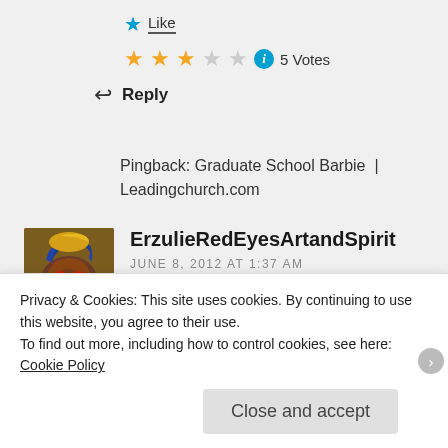★ Like
★★★☆☆ ⓘ 5 Votes
↩ Reply
Pingback: Graduate School Barbie | Leadingchurch.com
ErzulieRedEyesArtandSpirit
JUNE 8, 2012 AT 1:37 AM
Privacy & Cookies: This site uses cookies. By continuing to use this website, you agree to their use.
To find out more, including how to control cookies, see here: Cookie Policy
Close and accept